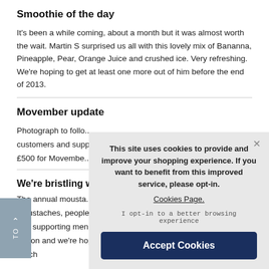Smoothie of the day
It's been a while coming, about a month but it was almost worth the wait. Martin S surprised us all with this lovely mix of Bananna, Pineapple, Pear, Orange Juice and crushed ice. Very refreshing. We're hoping to get at least one more out of him before the end of 2013.
Movember update
Photograph to follow... customers and supp... £500 for Movembe...
We're bristling w...
The annual mousta... moustaches, people... and supporting men... Million and we're hoping to So while we're facing quandries like which
[Figure (screenshot): Cookie consent overlay dialog with text 'This site uses cookies to provide and improve your shopping experience. If you want to benefit from this improved service, please opt-in. Cookies Page.' and 'I opt-in to a better browsing experience' link and 'Accept Cookies' button.]